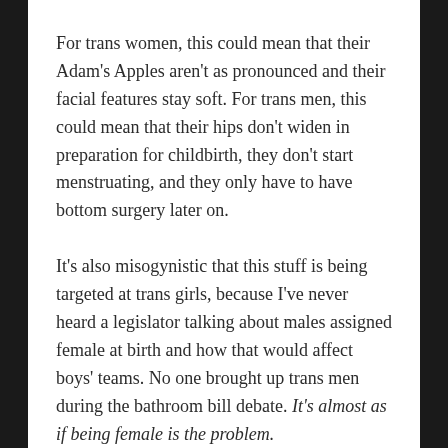For trans women, this could mean that their Adam's Apples aren't as pronounced and their facial features stay soft. For trans men, this could mean that their hips don't widen in preparation for childbirth, they don't start menstruating, and they only have to have bottom surgery later on.
It's also misogynistic that this stuff is being targeted at trans girls, because I've never heard a legislator talking about males assigned female at birth and how that would affect boys' teams. No one brought up trans men during the bathroom bill debate. It's almost as if being female is the problem.
I don't have the chutzpah to even read this blog